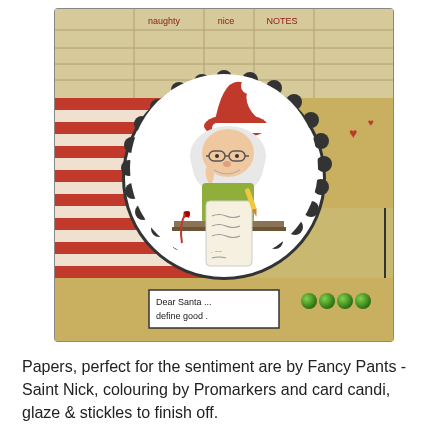[Figure (illustration): A handmade Christmas card featuring a cartoon character (Mrs. Claus or similar figure) wearing a Santa hat, sitting at a desk with a scroll/list, surrounded by decorative scrapbook papers including striped red and cream paper, kraft/ledger paper background with 'naughty', 'nice', 'NOTES' columns, green pearl embellishments, red bow, and a circular scalloped die-cut mat. A white sentiment box reads 'Dear Santa ... define good.']
Papers, perfect for the sentiment are by Fancy Pants - Saint Nick, colouring by Promarkers and card candi, glaze & stickles to finish off.